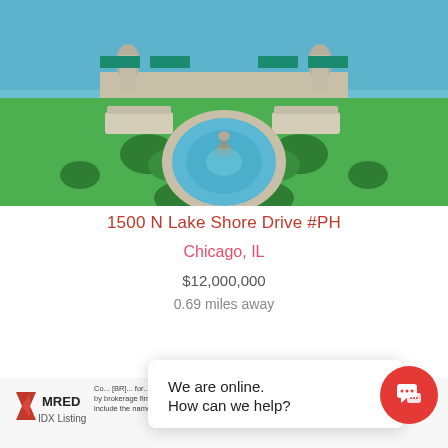[Figure (photo): Aerial view of a luxury estate with a circular blue fountain/pool on a green lawn, stone balustrades and urns, benches, and Lake Michigan in the background]
1500 N Lake Shore Drive #PH
Chicago, IL
$12,000,000
0.69 miles away
We are online.
How can we help?
Co ... for ... the li ... by brokerage firms other than At Properties | The Dodds Group include the name of the listing broker. Neither the listing company nor At Properties | The ...